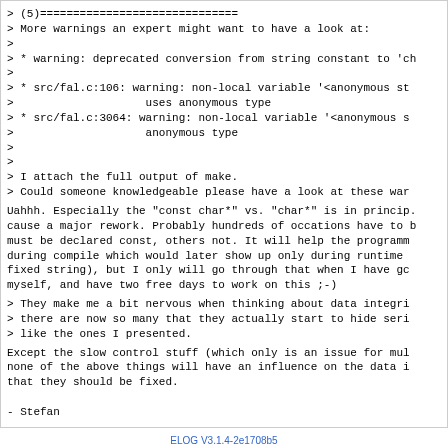> (5)==============================
> More warnings an expert might want to have a look at:
>
> * warning: deprecated conversion from string constant to 'ch
>
> * src/fal.c:106: warning: non-local variable '<anonymous st
>                    uses anonymous type
> * src/fal.c:3064: warning: non-local variable '<anonymous s
>                    anonymous type
>
>
> I attach the full output of make.
> Could someone knowledgeable please have a look at these war
Uahhh. Especially the "const char*" vs. "char*" is in princip.
cause a major rework. Probably hundreds of occations have to b
must be declared const, others not. It will help the programm
during compile which would later show up only during runtime
fixed string), but I only will go through that when I have gc
myself, and have two free days to work on this ;-)
> They make me a bit nervous when thinking about data integri
> there are now so many that they actually start to hide seri
> like the ones I presented.
Except the slow control stuff (which only is an issue for mul
none of the above things will have an influence on the data i
that they should be fixed.

- Stefan
ELOG V3.1.4-2e1708b5